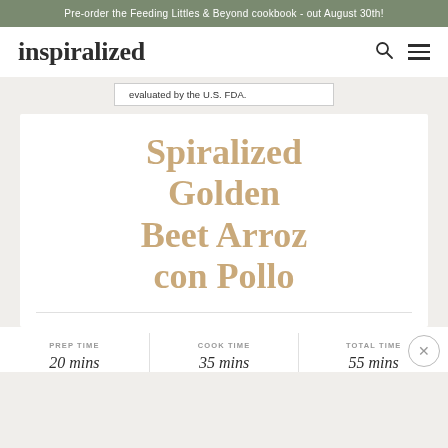Pre-order the Feeding Littles & Beyond cookbook - out August 30th!
inspiralized
evaluated by the U.S. FDA.
Spiralized Golden Beet Arroz con Pollo
PREP TIME 20 mins | COOK TIME 35 mins | TOTAL TIME 55 mins